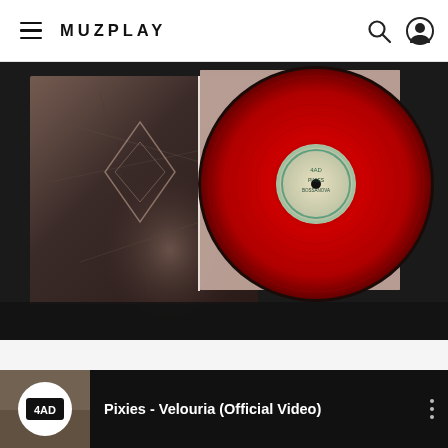MUZPLAY
[Figure (photo): Vinyl record album art with a red vinyl record and dark album cover featuring abstract/tattoo imagery on black background]
[Figure (screenshot): YouTube-style video row showing 'Pixies - Velouria (Official Video)' with channel icon and three-dot menu]